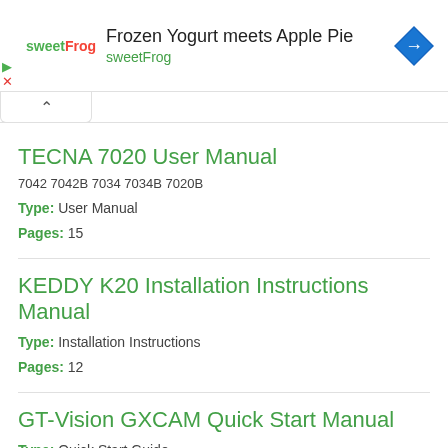[Figure (screenshot): sweetFrog advertisement banner with logo, title 'Frozen Yogurt meets Apple Pie', brand name 'sweetFrog', and blue diamond navigation arrow icon]
TECNA 7020 User Manual
7042 7042B 7034 7034B 7020B
Type: User Manual
Pages: 15
KEDDY K20 Installation Instructions Manual
Type: Installation Instructions
Pages: 12
GT-Vision GXCAM Quick Start Manual
Type: Quick Start Guide